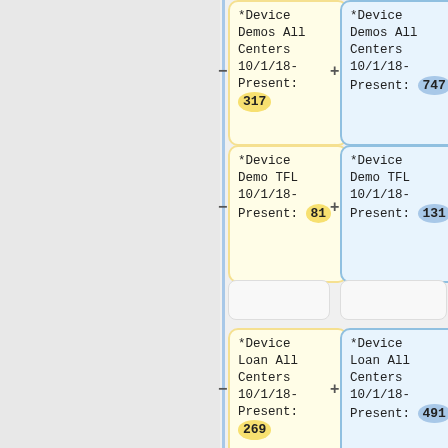[Figure (flowchart): Flowchart showing device demo and loan statistics with yellow (minus/left) and blue (plus/right) cards. Cards include: *Device Demos All Centers 10/1/18-Present: 317 (yellow) and 747 (blue); *Device Demo TFL 10/1/18-Present: 81 (yellow) and 131 (blue); empty boxes; *Device Loan All Centers 10/1/18-Present: 269 (yellow) and 491 (blue); *Device Loan TFL 10/1/18-Present: 124 (yellow) and 268 (blue).]